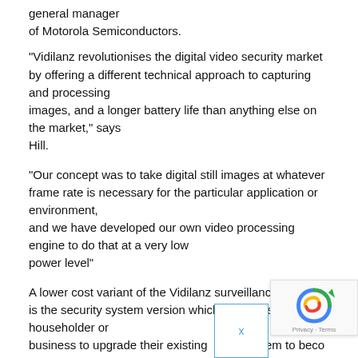general manager
of Motorola Semiconductors.
“Vidilanz revolutionises the digital video security market by offering a different technical approach to capturing and processing
images, and a longer battery life than anything else on the market,” says
Hill.
“Our concept was to take digital still images at whatever frame rate is necessary for the particular application or environment,
and we have developed our own video processing engine to do that at a very low
power level”
A lower cost variant of the Vidilanz surveillance camera is the security system version which is a first step for the householder or
business to upgrade their existing m system to beco